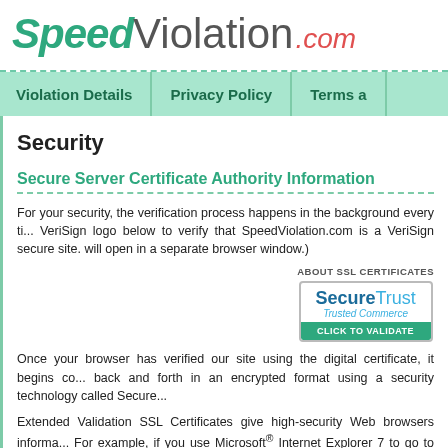SpeedViolation.com
Violation Details | Privacy Policy | Terms a
Security
Secure Server Certificate Authority Information
For your security, the verification process happens in the background every ti... VeriSign logo below to verify that SpeedViolation.com is a VeriSign secure site. ...will open in a separate browser window.)
[Figure (logo): SecureTrust Trusted Commerce CLICK TO VALIDATE badge]
Once your browser has verified our site using the digital certificate, it begins co... back and forth in an encrypted format using a security technology called Secure...
Extended Validation SSL Certificates give high-security Web browsers informa... For example, if you use Microsoft® Internet Explorer 7 to go to SpeedViolatio...